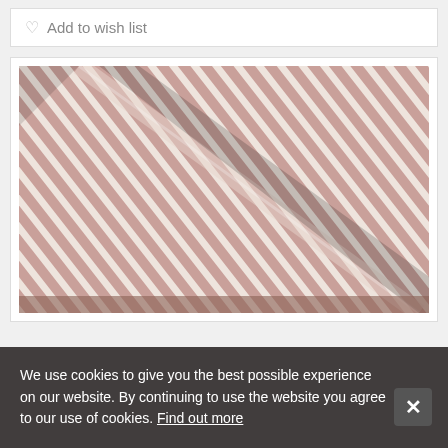Add to wish list
[Figure (photo): Close-up photograph of folded red and white striped fabric showing the texture and pattern of alternating stripes.]
We use cookies to give you the best possible experience on our website. By continuing to use the website you agree to our use of cookies. Find out more